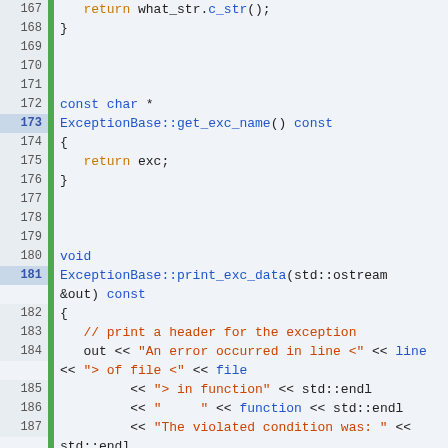[Figure (screenshot): Source code listing of C++ ExceptionBase class methods, lines 167-194, showing get_exc_name() and print_exc_data() implementations with syntax highlighting. Blue for keywords and identifiers, orange/red for strings, comments, and return values, dark for punctuation.]